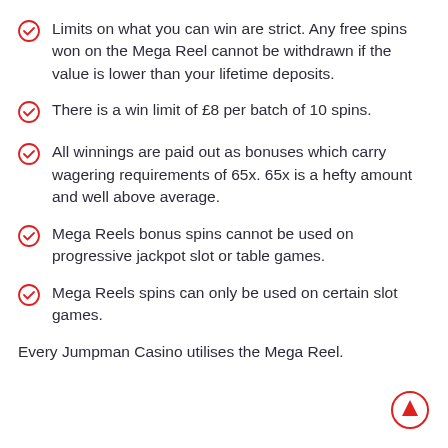Limits on what you can win are strict. Any free spins won on the Mega Reel cannot be withdrawn if the value is lower than your lifetime deposits.
There is a win limit of £8 per batch of 10 spins.
All winnings are paid out as bonuses which carry wagering requirements of 65x. 65x is a hefty amount and well above average.
Mega Reels bonus spins cannot be used on progressive jackpot slot or table games.
Mega Reels spins can only be used on certain slot games.
Every Jumpman Casino utilises the Mega Reel.